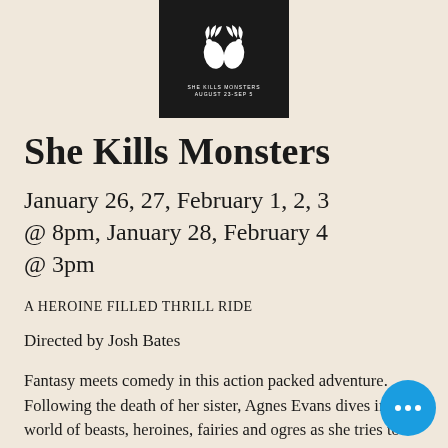[Figure (logo): She Kills Monsters logo — black background with white stylized rooster/bird illustration and text 'SHE KILLS MONSTERS' below]
She Kills Monsters
January 26, 27, February 1, 2, 3 @ 8pm, January 28, February 4 @ 3pm
A HEROINE FILLED THRILL RIDE
Directed by Josh Bates
Fantasy meets comedy in this action packed adventure. Following the death of her sister, Agnes Evans dives into a world of beasts, heroines, fairies and ogres as she tries to connect with her sister through her hidden notebook.